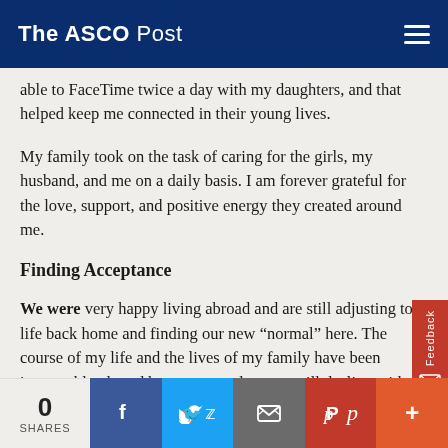The ASCO Post
able to FaceTime twice a day with my daughters, and that helped keep me connected in their young lives.
My family took on the task of caring for the girls, my husband, and me on a daily basis. I am forever grateful for the love, support, and positive energy they created around me.
Finding Acceptance
We were very happy living abroad and are still adjusting to life back home and finding our new “normal” here. The course of my life and the lives of my family have been irrevocably altered by cancer, and we are still dealing with the aftermath of my illness and finding our way forward. I don’t look at my diagnosis as a positive or negative event. It is just a fact of my life that I live with every day.
0 SHARES | Facebook | Twitter | Email | Pinterest | More